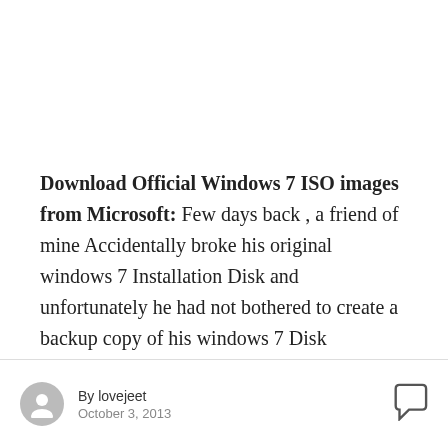Download Official Windows 7 ISO images from Microsoft: Few days back , a friend of mine Accidentally broke his original windows 7 Installation Disk and unfortunately he had not bothered to create a backup copy of his windows 7 Disk beforehand. So i had to lend him the Original copy of Windows 7 disk.
By lovejeet
October 3, 2013